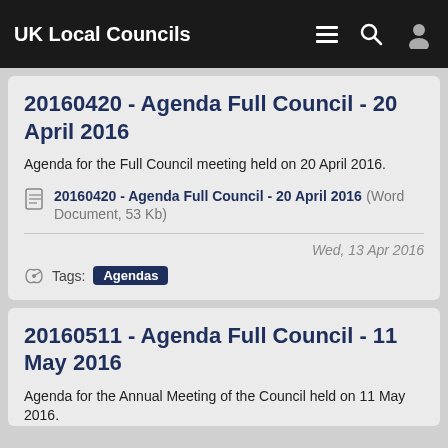UK Local Councils
20160420 - Agenda Full Council - 20 April 2016
Agenda for the Full Council meeting held on 20 April 2016.
20160420 - Agenda Full Council - 20 April 2016 (Word Document, 53 Kb)
Wed, 13 Apr 2016
Tags: Agendas
20160511 - Agenda Full Council - 11 May 2016
Agenda for the Annual Meeting of the Council held on 11 May 2016.